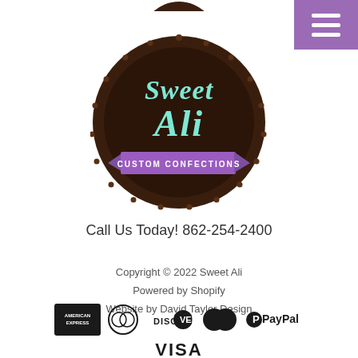[Figure (logo): Sweet Ali Custom Confections logo: circular dark brown cookie-style badge with teal/mint cursive text 'Sweet Ali' and purple ribbon banner reading 'CUSTOM CONFECTIONS']
Call Us Today! 862-254-2400
Copyright © 2022 Sweet Ali
Powered by Shopify
Website by David Taylor Design
[Figure (logo): Payment icons: American Express, Diners Club, Discover, Mastercard, PayPal]
[Figure (logo): VISA payment icon]